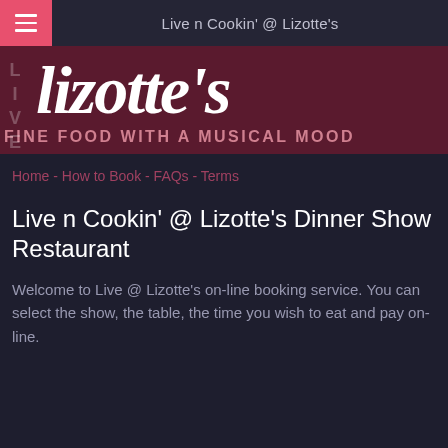Live n Cookin' @ Lizotte's
[Figure (logo): Lizotte's restaurant logo — white handwritten-style text 'lizotte's' on dark maroon background with 'LIVE' text vertically on left side and tagline 'FINE FOOD WITH A MUSICAL MOOD' below]
Home - How to Book - FAQs - Terms
Live n Cookin' @ Lizotte's Dinner Show Restaurant
Welcome to Live @ Lizotte's on-line booking service. You can select the show, the table, the time you wish to eat and pay on-line.